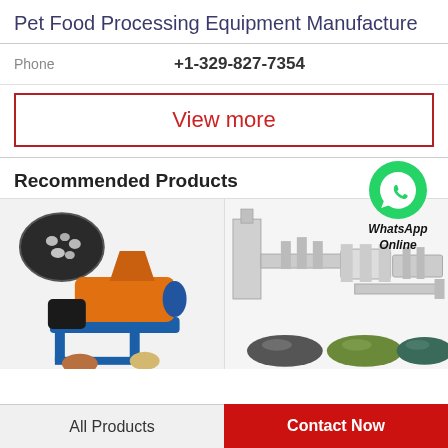Pet Food Processing Equipment Manufacture
Phone   +1-329-827-7354
View more
Recommended Products
[Figure (photo): Orange and blue pet food extrusion machine with small circular pet food pellets shown in inset oval and on ground]
[Figure (photo): Industrial pet food processing line equipment (large scale), with three piles of colored pet food pellets below]
[Figure (logo): WhatsApp green circle logo with phone icon, labeled WhatsApp Online]
All Products   Contact Now